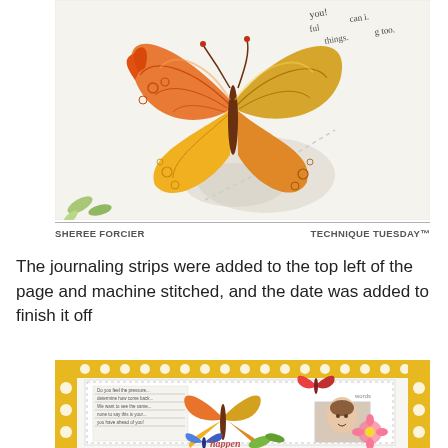[Figure (photo): Close-up photo of a colorful orange and yellow butterfly paper craft element on a white scrapbook page, with handwritten journaling strips visible in the top right corner and green leaf accents at the bottom left.]
SHEREE FORCIER    TECHNIQUE TUESDAY™
The journaling strips were added to the top left of the page and machine stitched, and the date was added to finish it off
[Figure (photo): Photo of a scrapbook layout with yellow polka dot border, white center panel, butterfly die cuts, journaling block, a small photo of a girl, and floral decorations.]